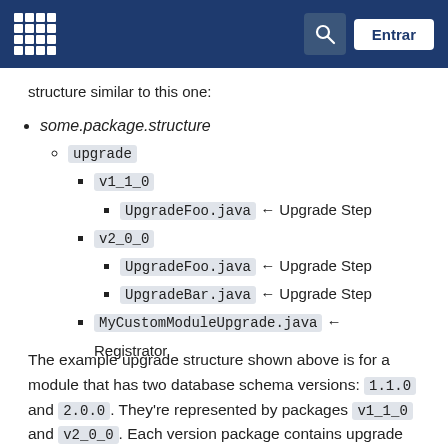[Logo] [Search] Entrar
structure similar to this one:
some.package.structure
upgrade
v1_1_0
UpgradeFoo.java ← Upgrade Step
v2_0_0
UpgradeFoo.java ← Upgrade Step
UpgradeBar.java ← Upgrade Step
MyCustomModuleUpgrade.java ← Registrator
The example upgrade structure shown above is for a module that has two database schema versions: 1.1.0 and 2.0.0. They're represented by packages v1_1_0 and v2_0_0. Each version package contains upgrade step classes that update